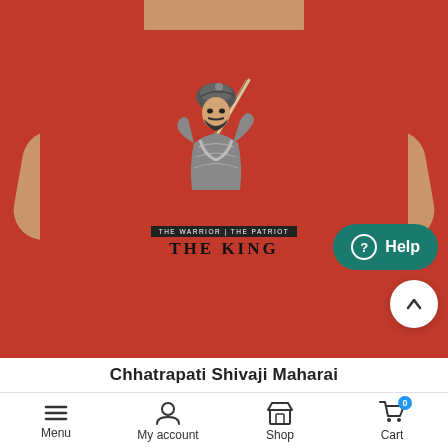[Figure (photo): Product photo of a man wearing a red t-shirt with a black and white graphic of a warrior (Chhatrapati Shivaji Maharaj) holding a sword, with text 'THE WARRIOR | THE PATRIOT / THE KING' printed on the shirt. A teal Help button is visible in the lower right of the image area, along with a white scroll-to-top button.]
Chhatrapati Shivaji Maharai
Menu   My account   Shop   Cart